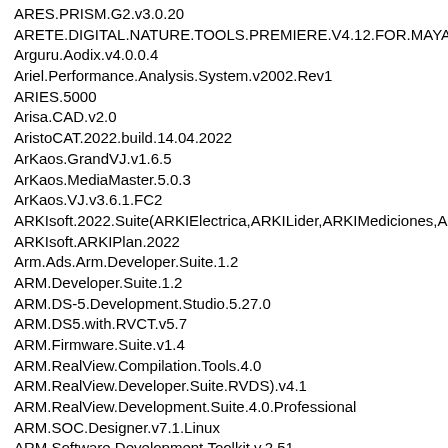ARES.PRISM.G2.v3.0.20
ARETE.DIGITAL.NATURE.TOOLS.PREMIERE.V4.12.FOR.MAYA
Arguru.Aodix.v4.0.0.4
Ariel.Performance.Analysis.System.v2002.Rev1
ARIES.5000
Arisa.CAD.v2.0
AristoCAT.2022.build.14.04.2022
ArKaos.GrandVJ.v1.6.5
ArKaos.MediaMaster.5.0.3
ArKaos.VJ.v3.6.1.FC2
ARKIsoft.2022.Suite(ARKIElectrica,ARKILider,ARKIMediciones,ARKI
ARKIsoft.ARKIPlan.2022
Arm.Ads.Arm.Developer.Suite.1.2
ARM.Developer.Suite.1.2
ARM.DS-5.Development.Studio.5.27.0
ARM.DS5.with.RVCT.v5.7
ARM.Firmware.Suite.v1.4
ARM.RealView.Compilation.Tools.4.0
ARM.RealView.Developer.Suite.RVDS).v4.1
ARM.RealView.Development.Suite.4.0.Professional
ARM.SOC.Designer.v7.1.Linux
ARM.Software.Development.Toolkit.v.2.51
Armacad.V8.1.for.Autocad.2007.to.2022
ArmCAD.2005